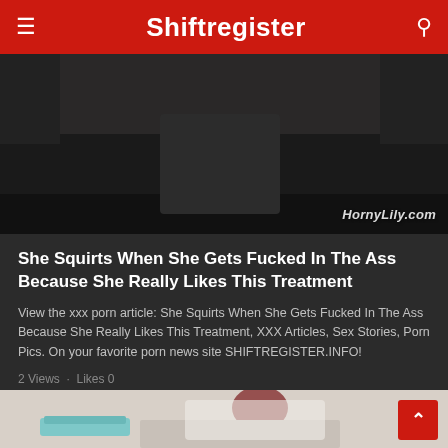Shiftregister
[Figure (photo): Dark-toned intimate photo with watermark 'HornyLily.com' in bottom right corner]
She Squirts When She Gets Fucked In The Ass Because She Really Likes This Treatment
View the xxx porn article: She Squirts When She Gets Fucked In The Ass Because She Really Likes This Treatment, XXX Articles, Sex Stories, Porn Pics. On your favorite porn news site SHIFTREGISTER.INFO!
2 Views · Likes 0
[Figure (photo): Photo of a red-haired woman in a white top, partially visible, with blue towels in background]